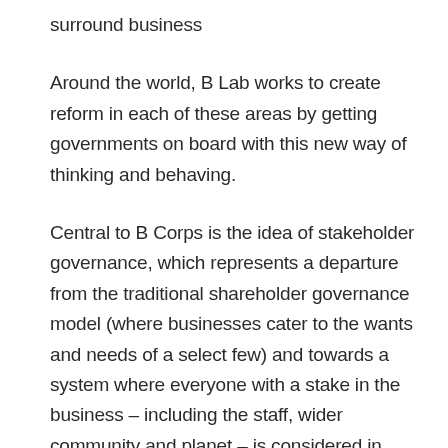surround business
Around the world, B Lab works to create reform in each of these areas by getting governments on board with this new way of thinking and behaving.
Central to B Corps is the idea of stakeholder governance, which represents a departure from the traditional shareholder governance model (where businesses cater to the wants and needs of a select few) and towards a system where everyone with a stake in the business – including the staff, wider community and planet – is considered in business decisions and actions.